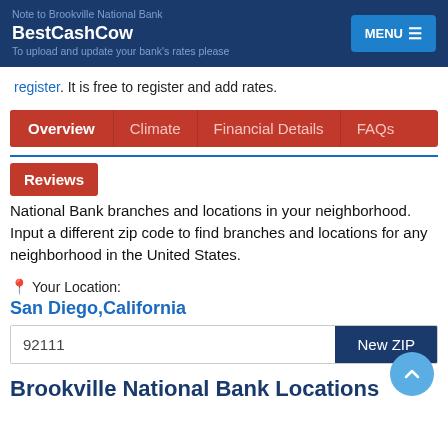Note to Brookville National Bank
BestCashCow
To upload and update your bank's rates please register. It is free to register and add rates.
register. It is free to register and add rates.
Overview  Climate  Financial Details  FAQs
Reviews
National Bank branches and locations in your neighborhood. Input a different zip code to find branches and locations for any neighborhood in the United States.
Your Location:
San Diego,California
92111
Brookville National Bank Locations